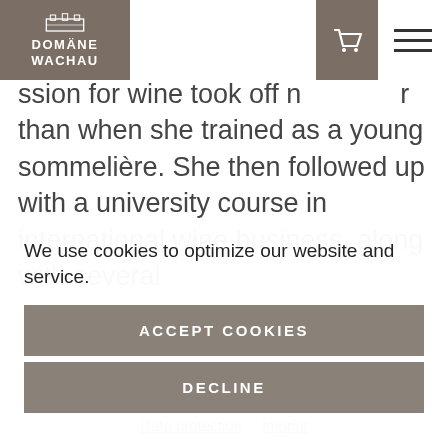[Figure (logo): Domäne Wachau logo — grey box with building illustration and white text reading DOMÄNE WACHAU]
ssion for wine took off n… r than when she trained as a young sommelière. She then followed up with a university course in international wine business, along with several
We use cookies to optimize our website and service.
ACCEPT COOKIES
DECLINE
SHOW SETTINGS
Data protection   Imprint